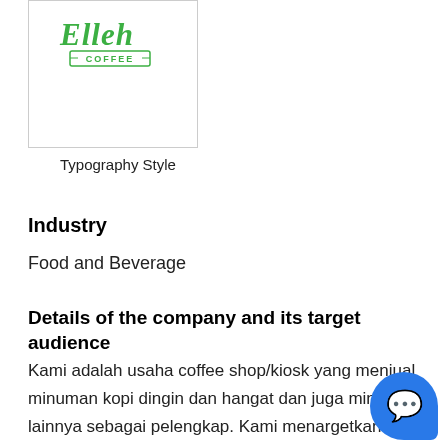[Figure (logo): Elleh Coffee logo in green script typography with 'COFFEE' text below in a rectangular banner]
Typography Style
Industry
Food and Beverage
Details of the company and its target audience
Kami adalah usaha coffee shop/kiosk yang menjual minuman kopi dingin dan hangat dan juga minuman lainnya sebagai pelengkap. Kami menargetkan masyarakat perkotaan yang memiliki gaya hidup sibuk dan waktu yang padat sehingga membutuhkan minuman kopi yang bisa meningkatkan semangat